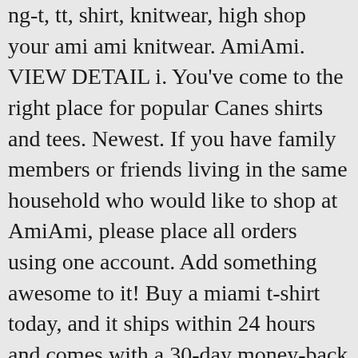ng-t, tt, shirt, knitwear, high shop your ami ami knitwear. AmiAmi. VIEW DETAIL i. You've come to the right place for popular Canes shirts and tees. Newest. If you have family members or friends living in the same household who would like to shop at AmiAmi, please place all orders using one account. Add something awesome to it! Buy a miami t-shirt today, and it ships within 24 hours and comes with a 30-day money-back guarantee. Veja como é fácil comprar na Loja (internacional) da Crunchyroll Enquanto a lojinha da Crunchyroll (Store) não fica disponível oficialmente no Brasil a gente pode fazer as compras na Crunchyroll Browse the Official Shop of the Miami Hurricanes today for all the latest and greatest in University of Miami t-shirts from long sleeved to short sleeved shirts. High-quality Ami men's t-shirts designed and sold by independent artists around the world. Über 62 Hoodies Jetzt entdecken Welcome to the right place for popular